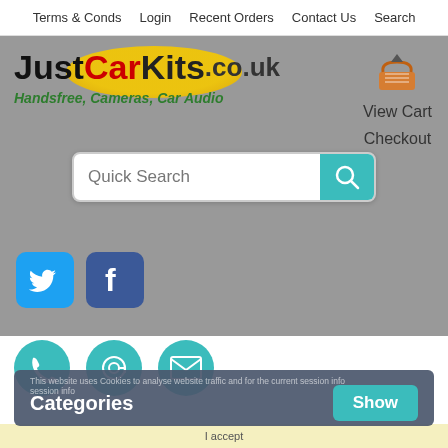Terms & Conds | Login | Recent Orders | Contact Us | Search
[Figure (logo): JustCarKits.co.uk logo with yellow oval background, red 'Car' text, and green tagline 'Handsfree, Cameras, Car Audio']
[Figure (illustration): Shopping cart icon with View Cart and Checkout links]
[Figure (screenshot): Quick Search input bar with teal search button]
[Figure (illustration): Twitter bird icon (blue rounded square) and Facebook f icon (dark blue rounded square)]
[Figure (illustration): Three teal circular contact icons: phone, at-symbol, envelope]
This website uses Cookies to analyse website traffic and for the current session info
Categories
Show
About Us
I accept